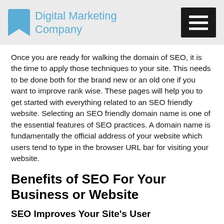Digital Marketing Company
Once you are ready for walking the domain of SEO, it is the time to apply those techniques to your site. This needs to be done both for the brand new or an old one if you want to improve rank wise. These pages will help you to get started with everything related to an SEO friendly website. Selecting an SEO friendly domain name is one of the essential features of SEO practices. A domain name is fundamentally the official address of your website which users tend to type in the browser URL bar for visiting your website.
Benefits of SEO For Your Business or Website
SEO Improves Your Site's User